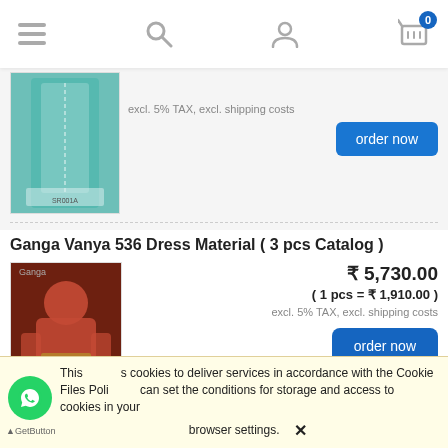[Figure (screenshot): E-commerce website header navigation bar with hamburger menu, search, user account, and cart icons (cart shows badge 0)]
[Figure (photo): Partial product image of a teal/aqua Indian dress material (salwar kameez) with dupatta]
excl. 5% TAX, excl. shipping costs
order now
Ganga Vanya 536 Dress Material ( 3 pcs Catalog )
[Figure (photo): Product image of a red Indian dress (salwar suit) worn by a model, on dark background]
₹ 5,730.00
( 1 pcs = ₹ 1,910.00 )
excl. 5% TAX, excl. shipping costs
order now
This uses cookies to deliver services in accordance with the Cookie Files Policy. You can set the conditions for storage and access to cookies in your browser settings. ✕